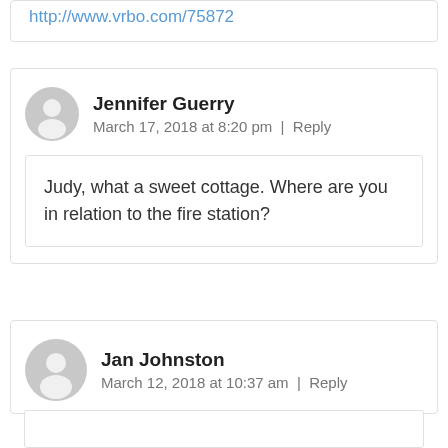http://www.vrbo.com/75872
Jennifer Guerry
March 17, 2018 at 8:20 pm | Reply
Judy, what a sweet cottage. Where are you in relation to the fire station?
Jan Johnston
March 12, 2018 at 10:37 am | Reply